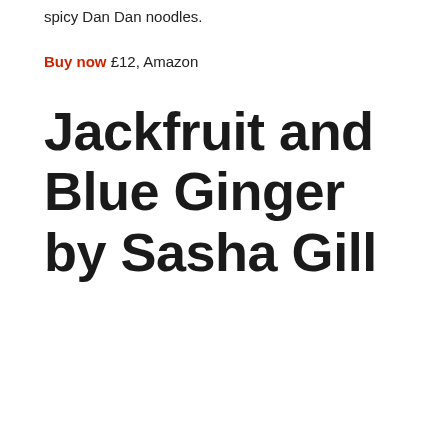spicy Dan Dan noodles.
Buy now £12, Amazon
Jackfruit and Blue Ginger by Sasha Gill